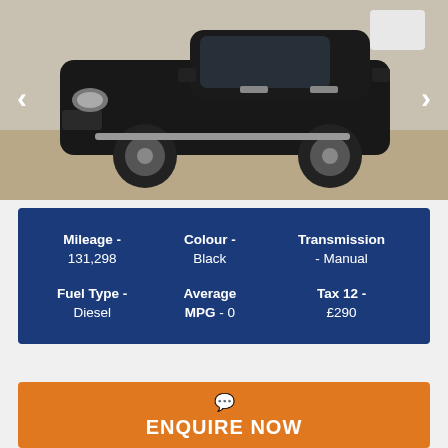[Figure (photo): Black Mitsubishi L200 pickup truck photographed in a car lot, with navigation arrows on left and right sides of the image.]
| Mileage | Colour | Transmission |
| --- | --- | --- |
| 131,298 | Black | Manual |
| Fuel Type - Diesel | Average MPG - 0 | Tax 12 - £290 |
ENQUIRE NOW